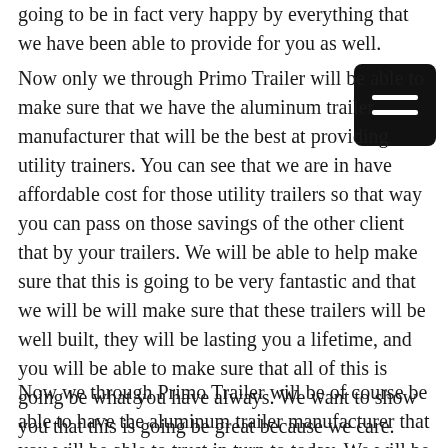going to be in fact very happy by everything that we have been able to provide for you as well.
Now only we through Primo Trailer will be able to make sure that we have the aluminum trailer manufacturer that will be the best at providing utility trainers. You can see that we are in have affordable cost for those utility trailers so that way you can pass on those savings of the other client that by your trailers. We will be able to help make sure that this is going to be very fantastic and that we will be will make sure that these trailers will be well built, they will be lasting you a lifetime, and you will be able to make sure that all of this is going be what you have always. We want to show you that this is going be great because we care.
Now we through Primo Trailer will be of course be able to have the aluminum trailer manufacturer that you will be able to trust in turn to today. We will be of the make